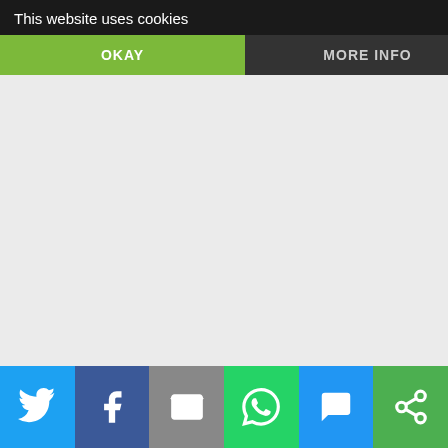[Figure (screenshot): Cookie consent banner overlay with dark background showing 'This website uses cookies' text, OKAY button in green and MORE INFO button in dark grey]
validly ordained priest, who uses correct matter, form, and intention; in other words, bread and wine, the correct words of consecration, and the intention of the priest to do what Christ wants and the church intends in the offering of holy mass. The correct intention is assumed when the priest uses the correct matter and form. Lastly, because the church is indefectible ,the holy ghost
[Figure (infographic): Social media share bar at bottom with Twitter (blue), Facebook (dark blue), Email (grey), WhatsApp (green), SMS (blue), and share (green) buttons with white icons]